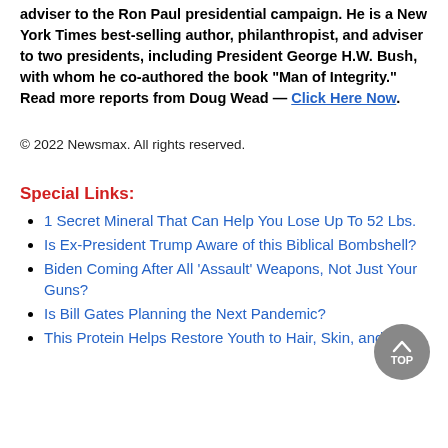adviser to the Ron Paul presidential campaign. He is a New York Times best-selling author, philanthropist, and adviser to two presidents, including President George H.W. Bush, with whom he co-authored the book "Man of Integrity." Read more reports from Doug Wead — Click Here Now.
© 2022 Newsmax. All rights reserved.
Special Links:
1 Secret Mineral That Can Help You Lose Up To 52 Lbs.
Is Ex-President Trump Aware of this Biblical Bombshell?
Biden Coming After All 'Assault' Weapons, Not Just Your Guns?
Is Bill Gates Planning the Next Pandemic?
This Protein Helps Restore Youth to Hair, Skin, and More